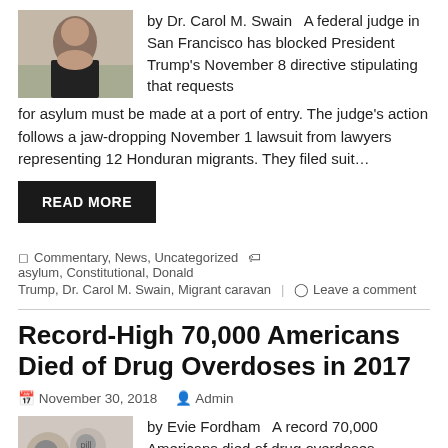[Figure (photo): Headshot photo of Dr. Carol M. Swain]
by Dr. Carol M. Swain   A federal judge in San Francisco has blocked President Trump's November 8 directive stipulating that requests for asylum must be made at a port of entry. The judge's action follows a jaw-dropping November 1 lawsuit from lawyers representing 12 Honduran migrants. They filed suit…
READ MORE
Commentary, News, Uncategorized   asylum, Constitutional, Donald Trump, Dr. Carol M. Swain, Migrant caravan   Leave a comment
Record-High 70,000 Americans Died of Drug Overdoses in 2017
November 30, 2018   Admin
[Figure (photo): Photo of pills/drug overdose related image]
by Evie Fordham   A record 70,000 Americans died of drug overdoses according to 2017 Centers for Disease Control and Prevention